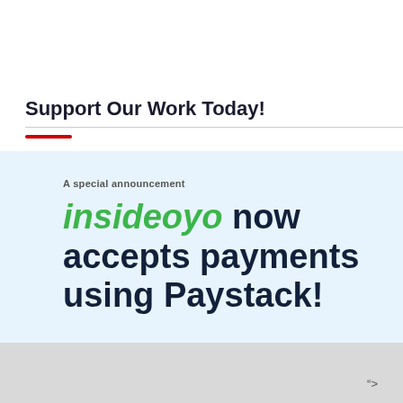Support Our Work Today!
[Figure (infographic): Light blue announcement box with text: 'A special announcement' followed by large headline 'insideoyo now accepts payments using Paystack!' where 'insideoyo' is in green italic and the rest is in dark navy bold.]